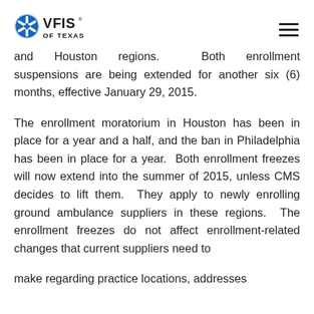VFIS OF TEXAS
and Houston regions. Both enrollment suspensions are being extended for another six (6) months, effective January 29, 2015.
The enrollment moratorium in Houston has been in place for a year and a half, and the ban in Philadelphia has been in place for a year. Both enrollment freezes will now extend into the summer of 2015, unless CMS decides to lift them. They apply to newly enrolling ground ambulance suppliers in these regions. The enrollment freezes do not affect enrollment-related changes that current suppliers need to make regarding practice locations, addresses